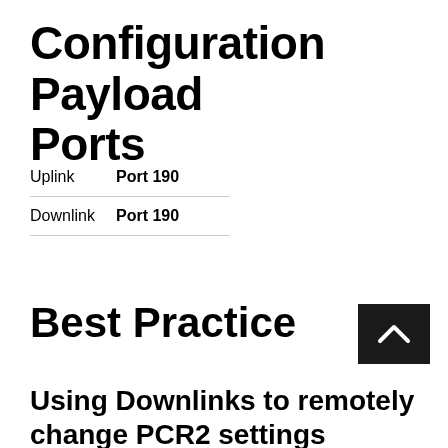Configuration Payload Ports
|  |  |
| --- | --- |
| Uplink | Port 190 |
| Downlink | Port 190 |
Best Practice
Using Downlinks to remotely change PCR2 settings